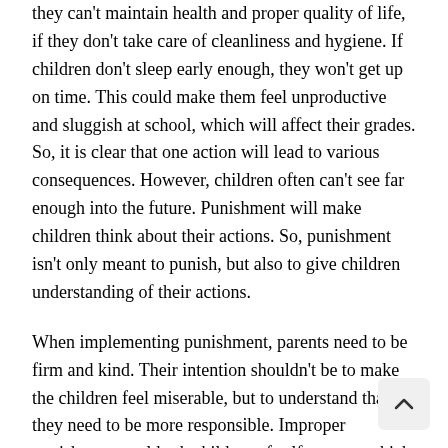they can't maintain health and proper quality of life, if they don't take care of cleanliness and hygiene. If children don't sleep early enough, they won't get up on time. This could make them feel unproductive and sluggish at school, which will affect their grades. So, it is clear that one action will lead to various consequences. However, children often can't see far enough into the future. Punishment will make children think about their actions. So, punishment isn't only meant to punish, but also to give children understanding of their actions.
When implementing punishment, parents need to be firm and kind. Their intention shouldn't be to make the children feel miserable, but to understand that they need to be more responsible. Improper punishment could rob children of self respect, which is not a good thing. There's a big difference between constructive punishment and doing things that make children feel miserable. Punishment should be related to misbehaviour or opposition to current rules. Punishment